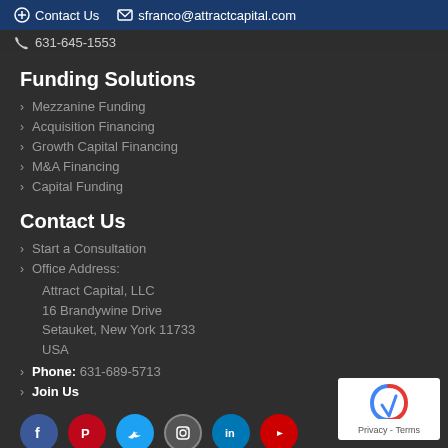Contact Us  sfranco@attractcapital.com
631-645-1553
Funding Solutions
Mezzanine Funding
Acquisition Financing
Growth Capital Financing
M&A Financing
Capital Funding
Contact Us
Start a Consultation
Office Address:
Attract Capital, LLC
16 Brandywine Drive
Setauket, New York 11733
USA
Phone: 631-689-5713
Join Us
[Figure (infographic): Social media icons row: Facebook (blue), Pinterest (red), Twitter (cyan), Instagram (gray), LinkedIn (blue), YouTube (red)]